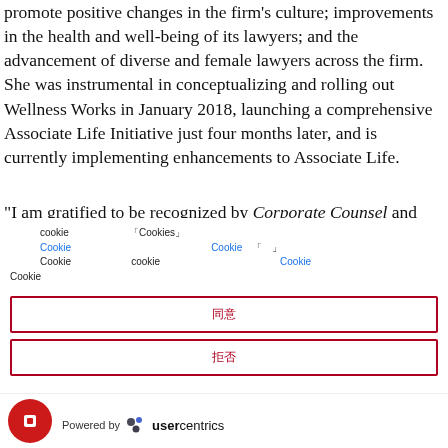promote positive changes in the firm's culture; improvements in the health and well-being of its lawyers; and the advancement of diverse and female lawyers across the firm. She was instrumental in conceptualizing and rolling out Wellness Works in January 2018, launching a comprehensive Associate Life Initiative just four months later, and is currently implementing enhancements to Associate Life.
“I am gratified to be recognized by Corporate Counsel and
Cookie 「「Cookies」」 Cookie 「 」 Cookie cookie Cookie Cookie Cookie
[Figure (other): Cookie consent overlay with two red-bordered buttons labeled with Japanese characters, a Usercentrics logo, and a red circular icon]
Powered by usercentrics